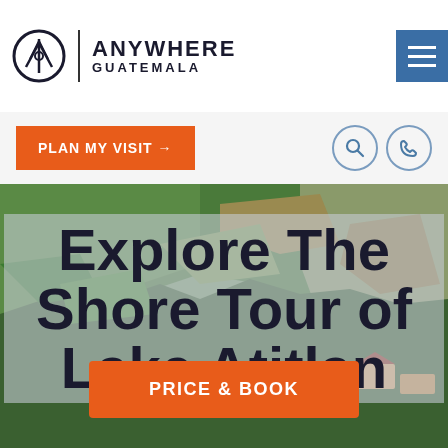[Figure (logo): Anywhere Guatemala logo with circular mountain/compass icon, vertical divider, and text ANYWHERE GUATEMALA in bold sans-serif]
[Figure (other): Blue hamburger menu button with three white horizontal lines]
PLAN MY VISIT →
[Figure (other): Search icon (magnifying glass) in circular border]
[Figure (other): Phone icon in circular border]
[Figure (photo): Aerial or hillside view of Lake Atitlan shore with lush green forested mountains, rocky slopes, and lakeside buildings/houses]
Explore The Shore Tour of Lake Atitlan
PRICE & BOOK